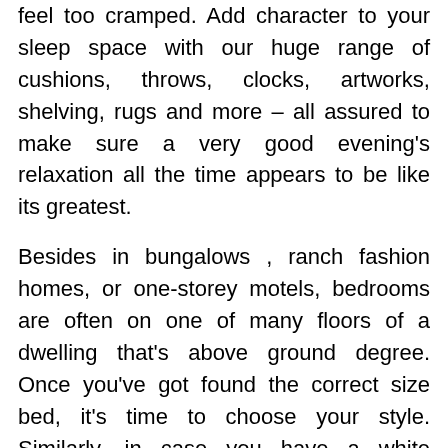feel too cramped. Add character to your sleep space with our huge range of cushions, throws, clocks, artworks, shelving, rugs and more – all assured to make sure a very good evening's relaxation all the time appears to be like its greatest.
Besides in bungalows , ranch fashion homes, or one-storey motels, bedrooms are often on one of many floors of a dwelling that's above ground degree. Once you've got found the correct size bed, it's time to choose your style. Similarly, in case you have a white mattress, selecting white or pale bed room furniture will help the scheme to pull together as one.
Furnishing a small bedroom can be a challenge as